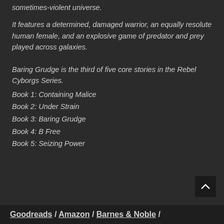sometimes-violent universe.
It features a determined, damaged warrior, an equally resolute human female, and an explosive game of predator and prey played across galaxies.
Baring Grudge is the third of five core stories in the Rebel Cyborgs Series.
Book 1: Containing Malice
Book 2: Under Strain
Book 3: Baring Grudge
Book 4: B Free
Book 5: Seizing Power
Goodreads / Amazon / Barnes & Noble /